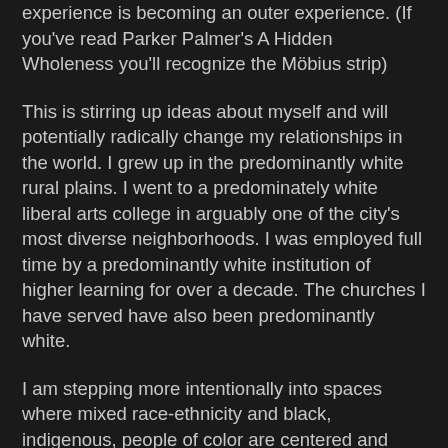experience is becoming an outer experience. (If you've read Parker Palmer's A Hidden Wholeness you'll recognize the Möbius strip)
This is stirring up ideas about myself and will potentially radically change my relationships in the world. I grew up in the predominantly white rural plains. I went to a predominately white liberal arts college in arguably one of the city's most diverse neighborhoods. I was employed full time by a predominantly white institution of higher learning for over a decade. The churches I have served have also been predominantly white.
I am stepping more intentionally into spaces where mixed race-ethnicity and black, indigenous, people of color are centered and leading. This is both thrilling and scary to me. I'm thrilled to be liberating myself of the whiteness I've been immersed in for so long (five decades!). I'm scared to discover how much whiteness I have internalized and might carry into these spaces and toxify them.
And that's what I can name. I remember so little of my